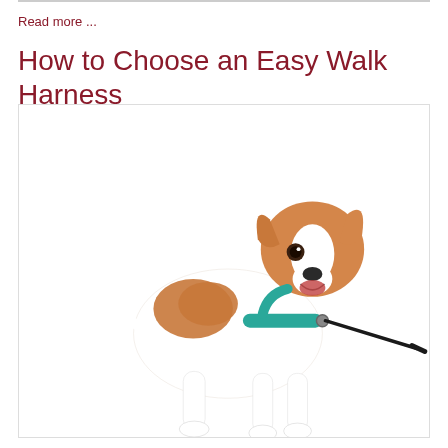Read more ...
How to Choose an Easy Walk Harness
[Figure (photo): A Jack Russell Terrier dog wearing a teal/turquoise easy walk harness with a black leash attached, standing and facing slightly right, on a white background.]